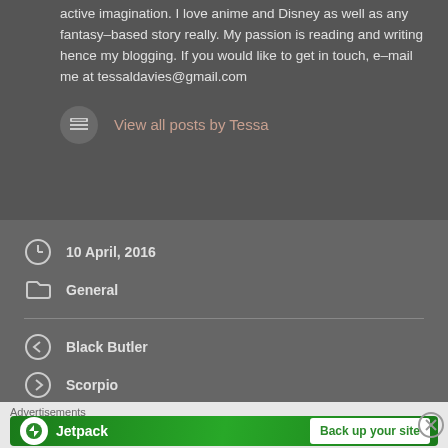active imagination. I love anime and Disney as well as any fantasy-based story really. My passion is reading and writing hence my blogging. If you would like to get in touch, e-mail me at tessaldavies@gmail.com
View all posts by Tessa
10 April, 2016
General
Black Butler
Scorpio
Advertisements
[Figure (screenshot): Jetpack advertisement banner with green background, Jetpack logo and 'Back up your site' button]